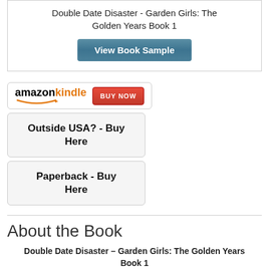Double Date Disaster - Garden Girls: The Golden Years Book 1
[Figure (screenshot): View Book Sample button - teal/blue gradient button]
[Figure (logo): Amazon Kindle BUY NOW button]
Outside USA? - Buy Here
Paperback - Buy Here
About the Book
Double Date Disaster – Garden Girls: The Golden Years Book 1
Eleanor becomes a suspect when her double date with Margaret turns disastrous.  It will take all of the Garden Girls and...